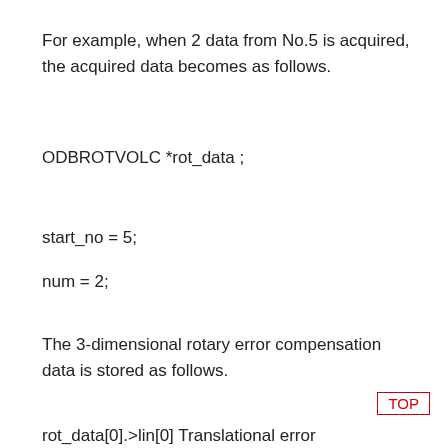For example, when 2 data from No.5 is acquired, the acquired data becomes as follows.
ODBROTVOLC *rot_data ;
start_no = 5;
num = 2;
The 3-dimensional rotary error compensation data is stored as follows.
rot_data[0].>lin[0] Translational error compensation